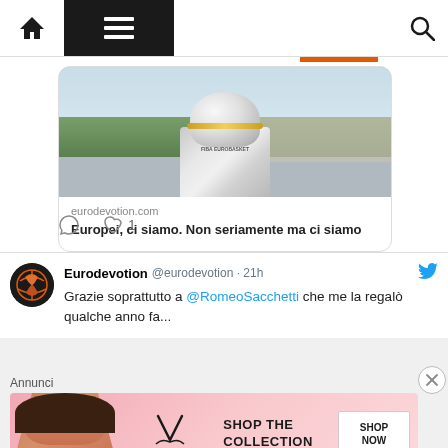Navigation bar with home, menu, search icons
[Figure (photo): FIBA EuroBasket trophy on a rooftop with city and mountains in background]
eurodevotion.com
Europei, ci siamo. Non seriamente ma ci siamo
[Figure (other): Tweet action icons: reply and like with count 1]
Eurodevotion @eurodevotion · 21h
Grazie soprattutto a @RomeoSacchetti che me la regalò qualche anno fa...
Annunci
[Figure (photo): Victoria's Secret advertisement banner: SHOP THE COLLECTION / SHOP NOW]